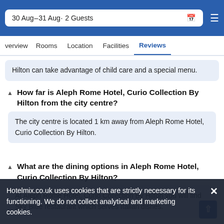30 Aug – 31 Aug · 2 Guests
verview  Rooms  Location  Facilities  Reviews
Hilton can take advantage of child care and a special menu.
How far is Aleph Rome Hotel, Curio Collection By Hilton from the city centre?
The city centre is located 1 km away from Aleph Rome Hotel, Curio Collection By Hilton.
What are the dining options in Aleph Rome Hotel, Curio Collection By Hilton?
At Aleph Rome Hotel, Curio Collection By Hilton you will find Sky Blue restaurant which serves Italian dishes.
Hotelmix.co.uk uses cookies that are strictly necessary for its functioning. We do not collect analytical and marketing cookies.